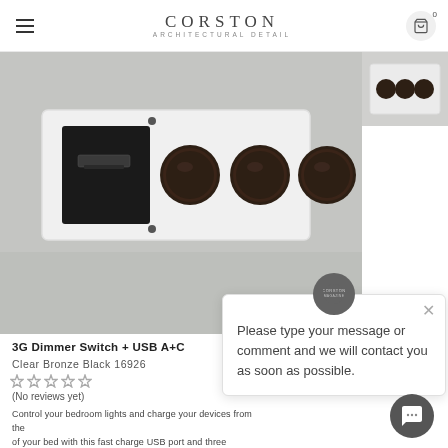CORSTON ARCHITECTURAL DETAIL
[Figure (photo): Product photo of a wall plate with three dark bronze dimmer knobs and a black USB A+C module on a white plate mounted on a white wall. Small thumbnail image shown top right.]
3G Dimmer Switch + USB A+C
Clear Bronze Black 16926
(No reviews yet)
Control your bedroom lights and charge your devices from the of your bed with this fast charge USB port and three dimmer switch.
Please type your message or comment and we will contact you as soon as possible.